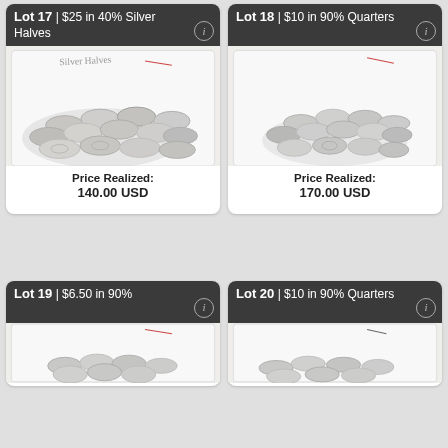[Figure (photo): Lot 17: Pile of silver half dollar coins in a white container labeled 'Silver Halves']
Price Realized:
140.00 USD
[Figure (photo): Lot 18: Pile of 90% silver quarters in a white container]
Price Realized:
170.00 USD
[Figure (photo): Lot 19: $6.50 in 90% silver coins partially visible]
[Figure (photo): Lot 20: $10 in 90% Quarters partially visible]